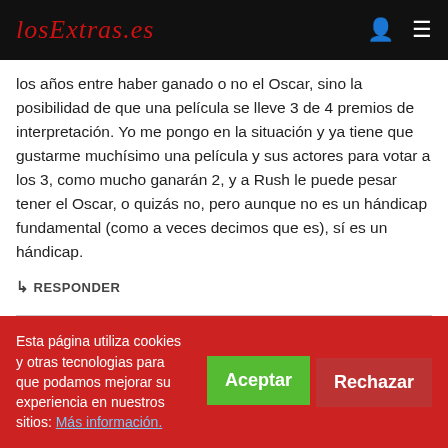losExtras.es
los años entre haber ganado o no el Oscar, sino la posibilidad de que una película se lleve 3 de 4 premios de interpretación. Yo me pongo en la situación y ya tiene que gustarme muchísimo una película y sus actores para votar a los 3, como mucho ganarán 2, y a Rush le puede pesar tener el Oscar, o quizás no, pero aunque no es un hándicap fundamental (como a veces decimos que es), sí es un hándicap.
↳  RESPONDER
Esta página utiliza cookies y otras tecnologias para que podamos mejorar su experiencia en nuestros sitios: Más información.